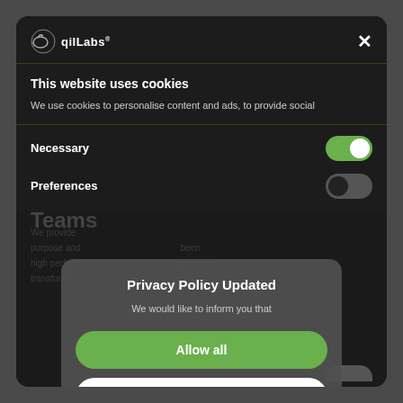[Figure (screenshot): Cookie consent modal overlay on a dark-themed website (qilLabs). The modal has a header with the qilLabs logo and a close X button, a cookie notice section saying 'This website uses cookies' with descriptive text, toggle controls for Necessary (on/green) and Preferences (off/dark), and a nested Privacy Policy Updated sub-modal with 'Allow all' (green) and 'Deny' (white) buttons. Background shows partial website content including 'High Performing Teams' heading.]